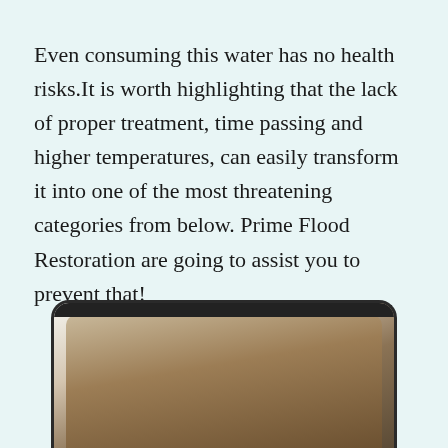Even consuming this water has no health risks.It is worth highlighting that the lack of proper treatment, time passing and higher temperatures, can easily transform it into one of the most threatening categories from below. Prime Flood Restoration are going to assist you to prevent that!
[Figure (photo): Partial view of a wooden cabinet or furniture with dark metal frame, photographed from below against a light background]